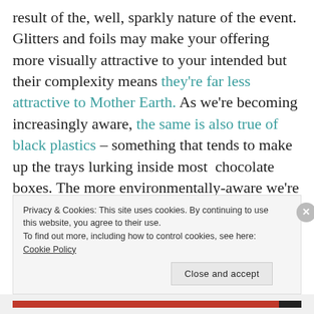result of the, well, sparkly nature of the event. Glitters and foils may make your offering more visually attractive to your intended but their complexity means they're far less attractive to Mother Earth. As we're becoming increasingly aware, the same is also true of black plastics – something that tends to make up the trays lurking inside most  chocolate boxes. The more environmentally-aware we're becoming, the more we feel under pressure to cut back on the
Privacy & Cookies: This site uses cookies. By continuing to use this website, you agree to their use.
To find out more, including how to control cookies, see here: Cookie Policy
Close and accept